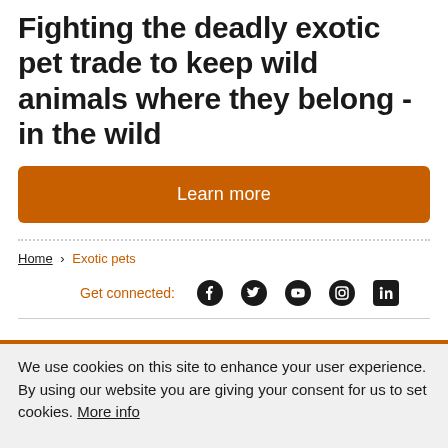Fighting the deadly exotic pet trade to keep wild animals where they belong - in the wild
Learn more
Home > Exotic pets
Get connected: [Facebook] [Twitter] [YouTube] [Instagram] [LinkedIn]
We use cookies on this site to enhance your user experience. By using our website you are giving your consent for us to set cookies. More info